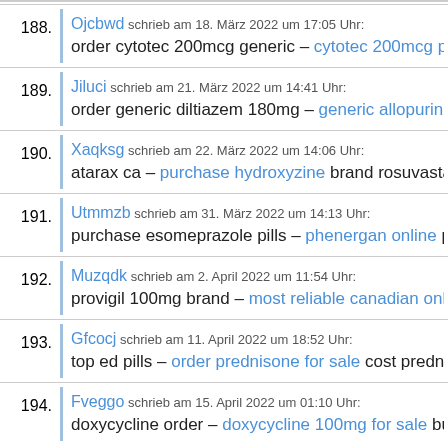188. Ojcbwd schrieb am 18. März 2022 um 17:05 Uhr: order cytotec 200mcg generic – cytotec 200mcg pills sy…
189. Jiluci schrieb am 21. März 2022 um 14:41 Uhr: order generic diltiazem 180mg – generic allopurinol 300…
190. Xaqksg schrieb am 22. März 2022 um 14:06 Uhr: atarax ca – purchase hydroxyzine brand rosuvastatin 10…
191. Utmmzb schrieb am 31. März 2022 um 14:13 Uhr: purchase esomeprazole pills – phenergan online phene…
192. Muzqdk schrieb am 2. April 2022 um 11:54 Uhr: provigil 100mg brand – most reliable canadian online ph…
193. Gfcocj schrieb am 11. April 2022 um 18:52 Uhr: top ed pills – order prednisone for sale cost prednisone…
194. Fveggo schrieb am 15. April 2022 um 01:10 Uhr: doxycycline order – doxycycline 100mg for sale buy ch…